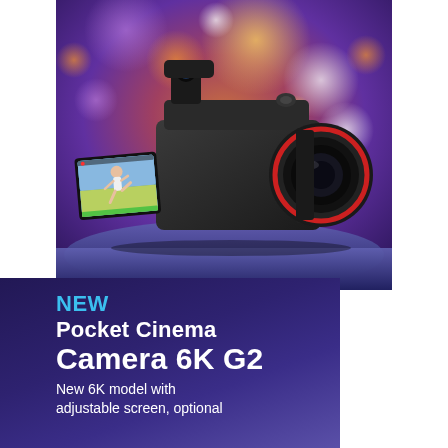[Figure (photo): Blackmagic Design Pocket Cinema Camera 6K G2 shown from the back-left angle, displaying an articulating LCD touchscreen showing a person mid-jump. The camera has a black body with a large lens on the right, a viewfinder attachment on top, and side control buttons. The background is a blurred bokeh of purple, orange, and gold out-of-focus lights.]
NEW Pocket Cinema Camera 6K G2
New 6K model with adjustable screen, optional viewfinder and more.